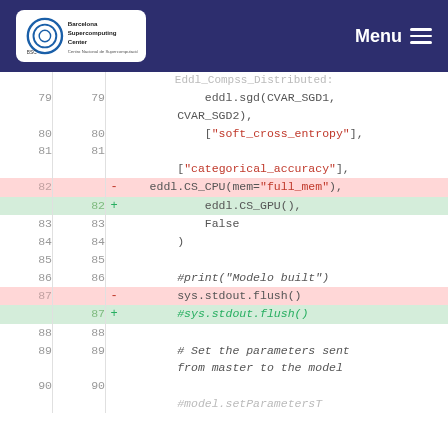ASC Barcelona Supercomputing Center - Menu
[Figure (screenshot): Code diff view showing Python source code with line numbers, deleted lines highlighted in red (lines 82, 87) and added lines in green (lines 82, 87). Shows eddl function calls including sgd, CS_CPU replaced by CS_GPU, sys.stdout.flush replaced by commented version, and comments about model parameters.]